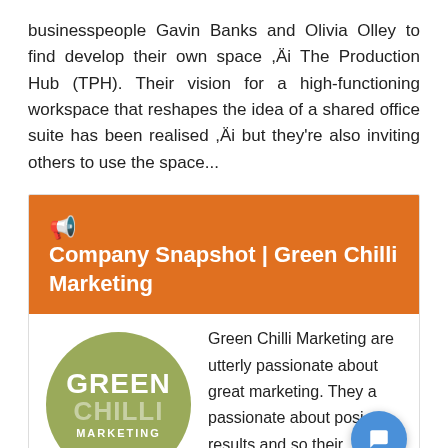businesspeople Gavin Banks and Olivia Olley to find develop their own space ,Äi The Production Hub (TPH). Their vision for a high-functioning workspace that reshapes the idea of a shared office suite has been realised ,Äi but they're also inviting others to use the space...
Company Snapshot | Green Chilli Marketing
[Figure (logo): Green Chilli Marketing circular logo with olive-green background, white text reading GREEN CHILLI MARKETING]
Green Chilli Marketing are utterly passionate about great marketing. They a passionate about posi results and so their